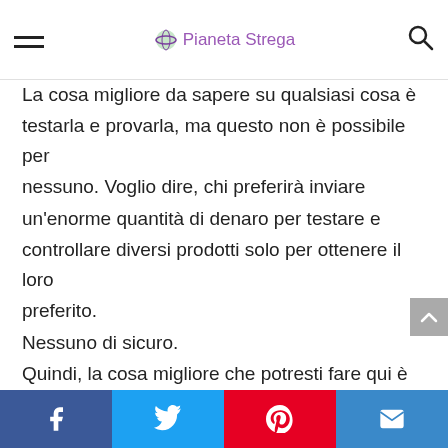Pianeta Strega
La cosa migliore da sapere su qualsiasi cosa è testarla e provarla, ma questo non è possibile per nessuno. Voglio dire, chi preferirà inviare un'enorme quantità di denaro per testare e controllare diversi prodotti solo per ottenere il loro preferito.
Nessuno di sicuro.
Quindi, la cosa migliore che potresti fare qui è sapere cosa dicono gli altri di quel particolare prodotto. Con il coinvolgimento del mercato dell'e-commerce, è diventato abbastanza più facile sapere in dettaglio cosa pensano gli altri di un particolare Offerte Del Mese.
Puoi passare attraverso le diverse recensioni online
Facebook Twitter Pinterest Email